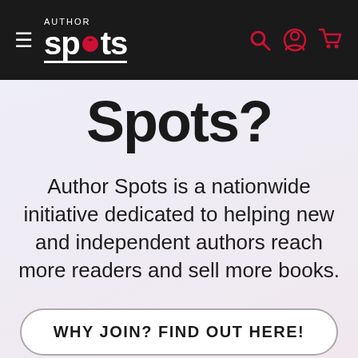Author Spots navigation bar with logo, hamburger menu, search, account, and cart icons
Spots?
Author Spots is a nationwide initiative dedicated to helping new and independent authors reach more readers and sell more books.
WHY JOIN? FIND OUT HERE!